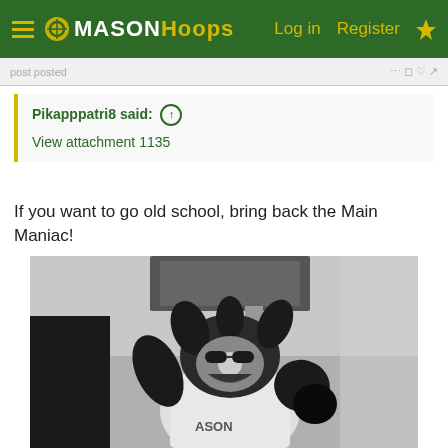MASON Hoops — Log in  Register
Pikapppatri8 said: ↑
View attachment 1135
If you want to go old school, bring back the Main Maniac!
[Figure (photo): Black and white photo of the George Mason University Main Maniac mascot costume character, raising arms in front of what appears to be a basketball backboard. The mascot wears a white shirt with 'MASON' visible and has wild dark hair and a large cartoon-like face.]